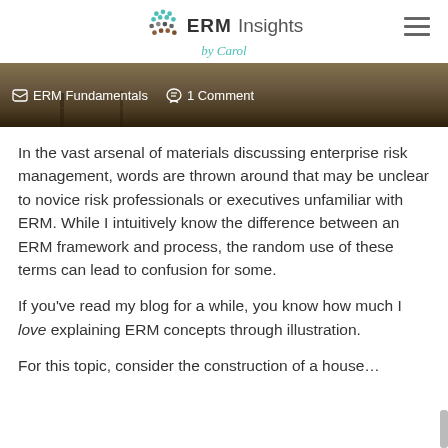ERM Insights by Carol
[Figure (photo): Hero image of outdoor rural/field scene with ERM Fundamentals category and 1 Comment label overlay]
In the vast arsenal of materials discussing enterprise risk management, words are thrown around that may be unclear to novice risk professionals or executives unfamiliar with ERM. While I intuitively know the difference between an ERM framework and process, the random use of these terms can lead to confusion for some.
If you’ve read my blog for a while, you know how much I love explaining ERM concepts through illustration.
For this topic, consider the construction of a house…